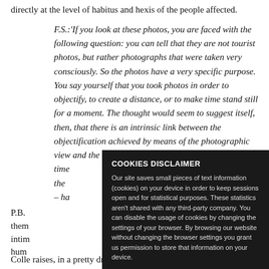directly at the level of habitus and hexis of the people affected.
F.S.: 'If you look at these photos, you are faced with the following question: you can tell that they are not tourist photos, but rather photographs that were taken very consciously. So the photos have a very specific purpose. You say yourself that you took photos in order to objectify, to create a distance, or to make time stand still for a moment. The thought would seem to suggest itself, then, that there is an intrinsic link between the objectification achieved by means of the photographic view and the ethn... time... the ... – ha...
P.B. ... them... intim... hum...
Colle raises, in a pretty dramatic situation. I was in the
[Figure (screenshot): Cookies disclaimer popup overlay on dark background. Title: COOKIES DISCLAIMER. Body text: Our site saves small pieces of text information (cookies) on your device in order to keep sessions open and for statistical purposes. These statistics aren't shared with any third-party company. You can disable the usage of cookies by changing the settings of your browser. By browsing our website without changing the browser settings you grant us permission to store that information on your device. Green button: I AGREE]